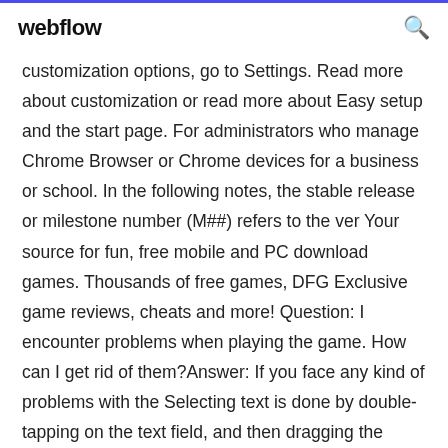webflow
customization options, go to Settings. Read more about customization or read more about Easy setup and the start page. For administrators who manage Chrome Browser or Chrome devices for a business or school. In the following notes, the stable release or milestone number (M##) refers to the ver Your source for fun, free mobile and PC download games. Thousands of free games, DFG Exclusive game reviews, cheats and more! Question: I encounter problems when playing the game. How can I get rid of them?Answer: If you face any kind of problems with the Selecting text is done by double-tapping on the text field, and then dragging the selection tabs to select the